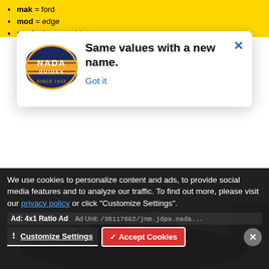mak = ford
mod = edge
prod = buyersguide
[Figure (screenshot): NADA Guides logo — navy oval with orange/yellow band and text 'NADA GUIDES SINCE 1933']
Same values with a new name.
Got it
Advertisement
[Figure (photo): Partial view of a dark/black SUV (Ford Edge) car from overhead angle]
Ad: 4x1 Ratio Ad
Ad Unit: /36117602/jnm.jdpa.nada...
adflow = no-native-1
We use cookies to personalize content and ads, to provide social media features and to analyze our traffic. To find out more, please visit our privacy policy or click "Customize Settings".
Customize Settings
Accept Cookies